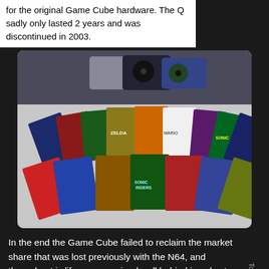for the original Game Cube hardware. The Q sadly only lasted 2 years and was discontinued in 2003.
[Figure (photo): A collection of Nintendo GameCube consoles and game cases fanned out on a table, including titles like Zelda, Sonic Riders, Mario, and others.]
In the end the Game Cube failed to reclaim the market share that was lost previously with the N64, and throughout is lifespan remained well behind in sales to the PlayStation 2, but only just behind Microsoft's Xbox. The Game Cube was considered a family friendly console in a market that was shifting